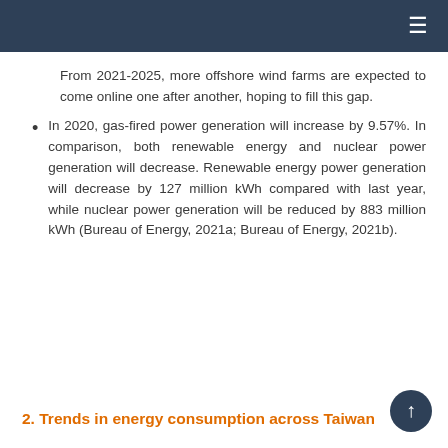≡
From 2021-2025, more offshore wind farms are expected to come online one after another, hoping to fill this gap.
In 2020, gas-fired power generation will increase by 9.57%. In comparison, both renewable energy and nuclear power generation will decrease. Renewable energy power generation will decrease by 127 million kWh compared with last year, while nuclear power generation will be reduced by 883 million kWh (Bureau of Energy, 2021a; Bureau of Energy, 2021b).
2. Trends in energy consumption across Taiwan